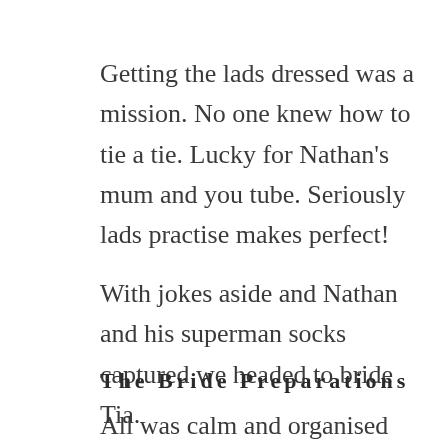Getting the lads dressed was a mission. No one knew how to tie a tie. Lucky for Nathan's mum and you tube. Seriously lads practise makes perfect!
With jokes aside and Nathan and his superman socks captured we headed to bride Tia.
The Bride Preparations
All was calm and organised when